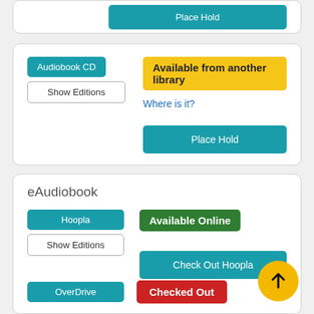[Figure (screenshot): Top card partial: Place Hold teal button]
Audiobook CD
Show Editions
Available from another library
Where is it?
Place Hold
eAudiobook
Hoopla
Show Editions
Available Online
Check Out Hoopla
OverDrive
Checked Out